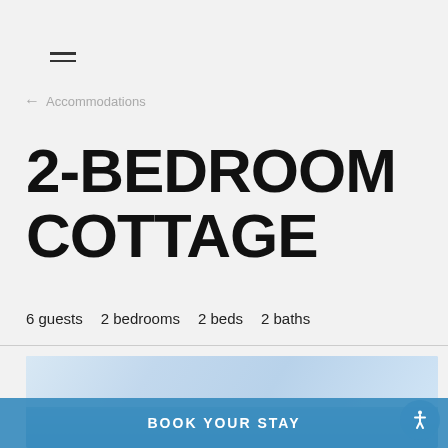≡
← Accommodations
2-BEDROOM COTTAGE
6 guests  2 bedrooms  2 beds  2 baths
[Figure (photo): Outdoor photo showing bright sky with clouds, likely exterior cottage view]
BOOK YOUR STAY